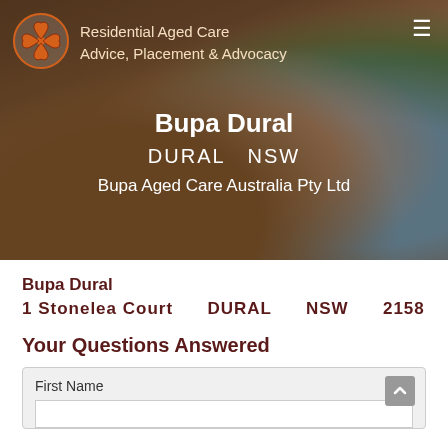[Figure (photo): Hero banner image showing an elderly man smiling, being assisted by a younger woman caregiver, with a plant visible in the background. Overlaid with logo and text.]
Residential Aged Care Advice, Placement & Advocacy
Bupa Dural
DURAL  NSW
Bupa Aged Care Australia Pty Ltd
Bupa Dural
1 Stonelea Court    DURAL    NSW    2158
Your Questions Answered
First Name